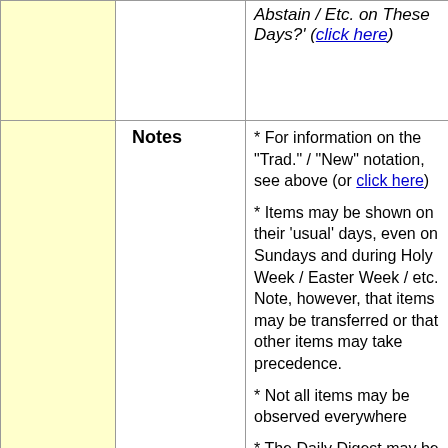|  |  | Abstain / Etc. on These Days?' (click here) |
|  | Notes | * For information on the "Trad." / "New" notation, see above (or click here)
* Items may be shown on their 'usual' days, even on Sundays and during Holy Week / Easter Week / etc. Note, however, that items may be transferred or that other items may take precedence.
* Not all items may be observed everywhere
* The Daily Digest may be prepared |